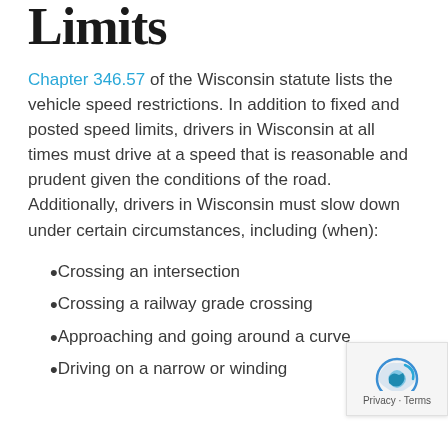Limits
Chapter 346.57 of the Wisconsin statute lists the vehicle speed restrictions. In addition to fixed and posted speed limits, drivers in Wisconsin at all times must drive at a speed that is reasonable and prudent given the conditions of the road. Additionally, drivers in Wisconsin must slow down under certain circumstances, including (when):
Crossing an intersection
Crossing a railway grade crossing
Approaching and going around a curve
Driving on a narrow or winding